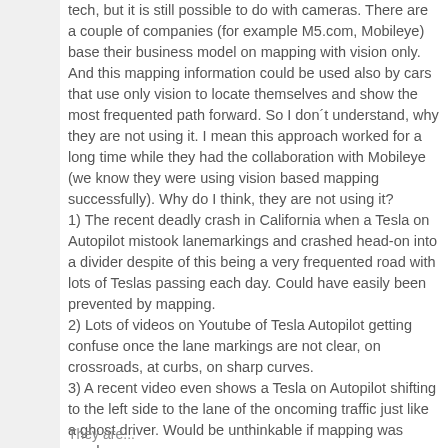tech, but it is still possible to do with cameras. There are a couple of companies (for example M5.com, Mobileye) base their business model on mapping with vision only. And this mapping information could be used also by cars that use only vision to locate themselves and show the most frequented path forward. So I don´t understand, why they are not using it. I mean this approach worked for a long time while they had the collaboration with Mobileye (we know they were using vision based mapping successfully). Why do I think, they are not using it? 1) The recent deadly crash in California when a Tesla on Autopilot mistook lanemarkings and crashed head-on into a divider despite of this being a very frequented road with lots of Teslas passing each day. Could have easily been prevented by mapping. 2) Lots of videos on Youtube of Tesla Autopilot getting confuse once the lane markings are not clear, on crossroads, at curbs, on sharp curves. 3) A recent video even shows a Tesla on Autopilot shifting to the left side to the lane of the oncoming traffic just like a ghost driver. Would be unthinkable if mapping was used.
They are...